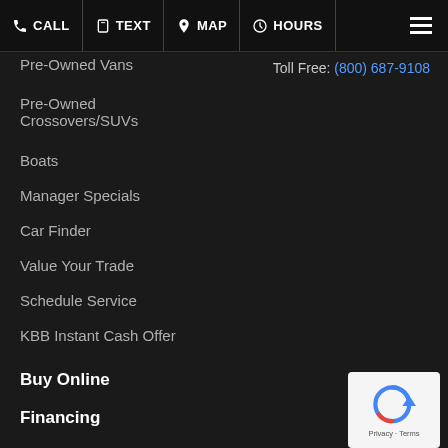CALL | TEXT | MAP | HOURS
Toll Free: (800) 687-9108
Pre-Owned Vans
Pre-Owned Crossovers/SUVs
Boats
Manager Specials
Car Finder
Value Your Trade
Schedule Service
KBB Instant Cash Offer
Buy Online
Financing
Credit Application
Value Your Trade
[Figure (logo): Google reCAPTCHA badge with arrow logo and Privacy - Terms text]